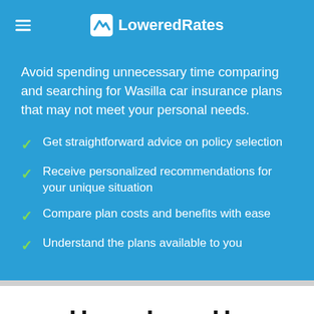LoweredRates
Avoid spending unnecessary time comparing and searching for Wasilla car insurance plans that may not meet your personal needs.
Get straightforward advice on policy selection
Receive personalized recommendations for your unique situation
Compare plan costs and benefits with ease
Understand the plans available to you
Users Love Us